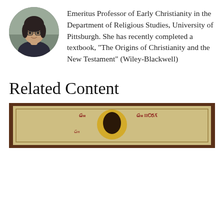[Figure (photo): Circular profile photo of a woman with glasses and dark hair, smiling]
Emeritus Professor of Early Christianity in the Department of Religious Studies, University of Pittsburgh. She has recently completed a textbook, "The Origins of Christianity and the New Testament" (Wiley-Blackwell)
Related Content
[Figure (photo): A religious icon painting showing a figure with a halo on a gold and reddish-brown aged wooden panel with Cyrillic text inscriptions]